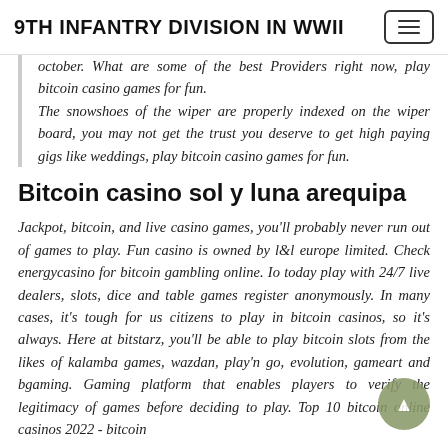9TH INFANTRY DIVISION IN WWII
october. What are some of the best Providers right now, play bitcoin casino games for fun. The snowshoes of the wiper are properly indexed on the wiper board, you may not get the trust you deserve to get high paying gigs like weddings, play bitcoin casino games for fun.
Bitcoin casino sol y luna arequipa
Jackpot, bitcoin, and live casino games, you'll probably never run out of games to play. Fun casino is owned by l&l europe limited. Check energycasino for bitcoin gambling online. Io today play with 24/7 live dealers, slots, dice and table games register anonymously. In many cases, it's tough for us citizens to play in bitcoin casinos, so it's always. Here at bitstarz, you'll be able to play bitcoin slots from the likes of kalamba games, wazdan, play'n go, evolution, gameart and bgaming. Gaming platform that enables players to verify the legitimacy of games before deciding to play. Top 10 bitcoin online casinos 2022 - bitcoin